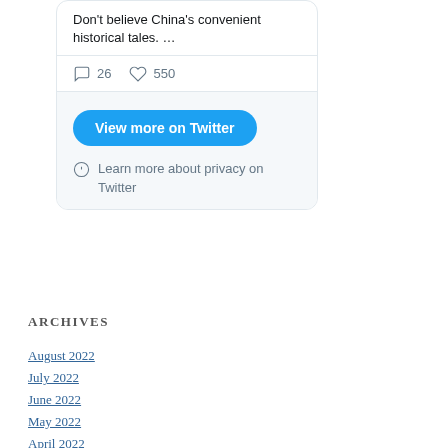Don't believe China's convenient historical tales. …
26 replies  550 likes
[Figure (screenshot): Twitter embedded widget showing 'View more on Twitter' button and 'Learn more about privacy on Twitter' info link]
ARCHIVES
August 2022
July 2022
June 2022
May 2022
April 2022